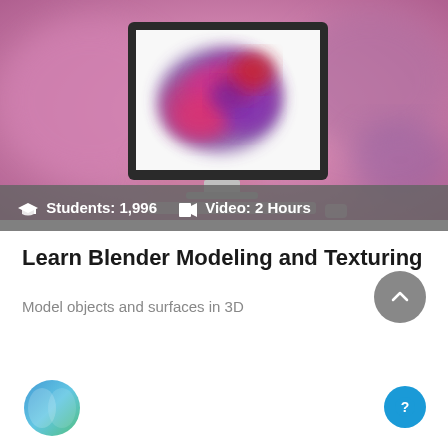[Figure (screenshot): Hero image showing a computer monitor displaying a colorful abstract 3D ink-like blob (purple, red, pink hues) on a white screen background, with blurred pink/purple bokeh in the background. A keyboard and mouse are partially visible at the bottom.]
Students: 1,996   Video: 2 Hours
Learn Blender Modeling and Texturing
Model objects and surfaces in 3D